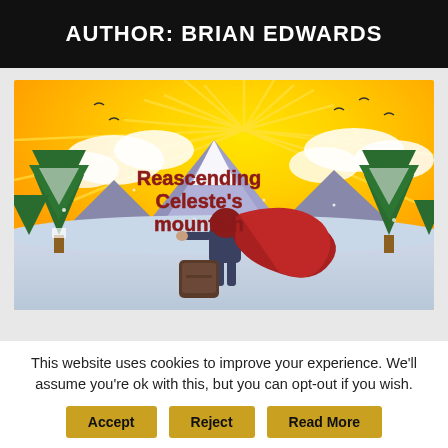AUTHOR: BRIAN EDWARDS
[Figure (illustration): Illustration for 'Reascending Celeste's mountain' — a game art image showing a character with long red flowing hair viewed from behind, standing in a snowy mountain scene with pine trees and golden sunburst sky. Text overlay reads 'Reascending Celeste's mountain' in bold dark red font.]
This website uses cookies to improve your experience. We'll assume you're ok with this, but you can opt-out if you wish.
Accept
Reject
Read More